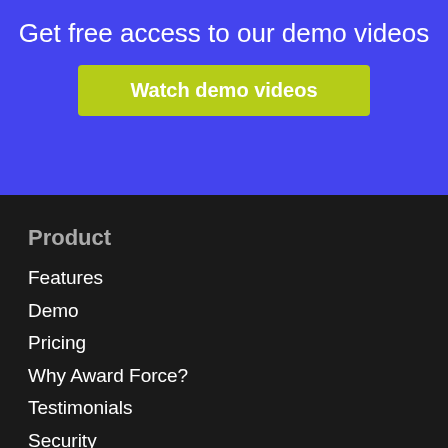Get free access to our demo videos
Watch demo videos
Product
Features
Demo
Pricing
Why Award Force?
Testimonials
Security
Getting started